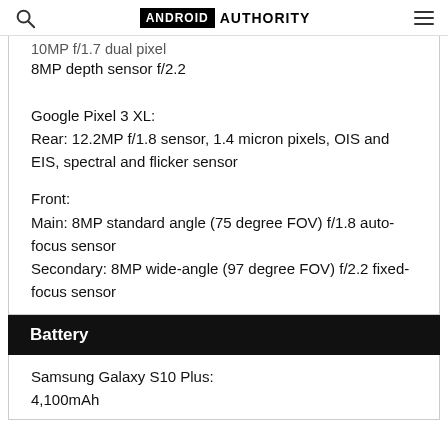ANDROID AUTHORITY
10MP f/1.7 dual pixel
8MP depth sensor f/2.2
Google Pixel 3 XL:
Rear: 12.2MP f/1.8 sensor, 1.4 micron pixels, OIS and EIS, spectral and flicker sensor
Front:
Main: 8MP standard angle (75 degree FOV) f/1.8 auto-focus sensor
Secondary: 8MP wide-angle (97 degree FOV) f/2.2 fixed-focus sensor
Battery
Samsung Galaxy S10 Plus:
4,100mAh